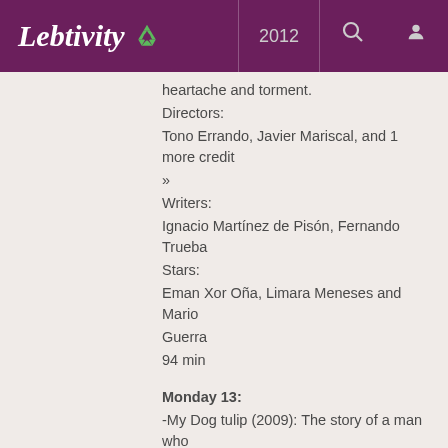Lebtivity 2012
heartache and torment.
Directors:
Tono Errando, Javier Mariscal, and 1 more credit »
Writers:
Ignacio Martínez de Pisón, Fernando Trueba
Stars:
Eman Xor Oña, Limara Meneses and Mario Guerra
94 min
Monday 13:
-My Dog tulip (2009): The story of a man who rescues a German shepherd and how the two become fast friends.
Directors:
Paul Fierlinger, Sandra Fierlinger
Writers:
J.R. Ackerley (book), Paul Fierlinger (screenplay),and 1 more credit »
Stars: